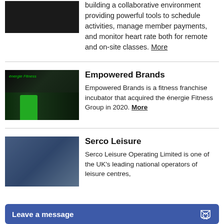[Figure (photo): Dark photo of a person exercising, likely in a gym setting]
building a collaborative environment providing powerful tools to schedule activities, manage member payments, and monitor heart rate both for remote and on-site classes. More
[Figure (photo): Exterior of energie Fitness gym at night with green lighting and a person in green top visible]
Empowered Brands
Empowered Brands is a fitness franchise incubator that acquired the énergie Fitness Group in 2020. More
[Figure (photo): Indoor cycling class with multiple people on bikes, blue walls in background]
Serco Leisure
Serco Leisure Operating Limited is one of the UK's leading national operators of leisure centres,
Leave a message